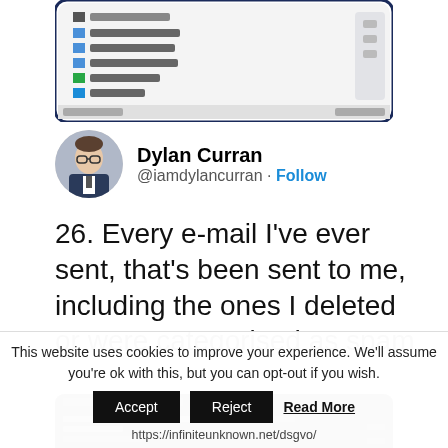[Figure (screenshot): Screenshot of a file manager or folder selection dialog on a mobile device, showing drive/network options]
Dylan Curran @iamdylancurran · Follow
26. Every e-mail I've ever sent, that's been sent to me, including the ones I deleted or were categorised as spam
[Figure (screenshot): Dark-themed terminal or code output screenshot showing email data]
This website uses cookies to improve your experience. We'll assume you're ok with this, but you can opt-out if you wish.
Accept   Reject   Read More
https://infiniteunknown.net/dsgvo/